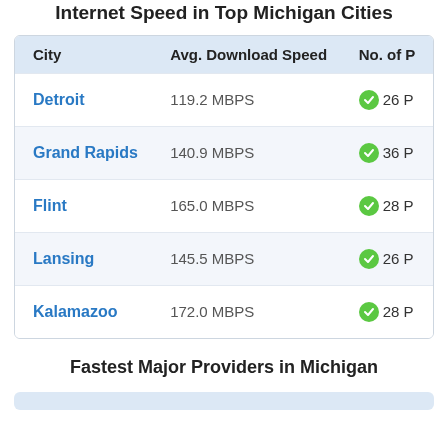Internet Speed in Top Michigan Cities
| City | Avg. Download Speed | No. of P |
| --- | --- | --- |
| Detroit | 119.2 MBPS | 26 P |
| Grand Rapids | 140.9 MBPS | 36 P |
| Flint | 165.0 MBPS | 28 P |
| Lansing | 145.5 MBPS | 26 P |
| Kalamazoo | 172.0 MBPS | 28 P |
Fastest Major Providers in Michigan